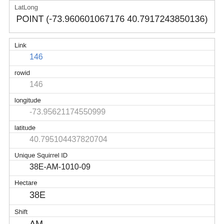| LatLong |
| --- |
| POINT (-73.960601067176 40.7917243850136) |
| Link | 146 |
| rowid | 146 |
| longitude | -73.95621174550999 |
| latitude | 40.795104437820704 |
| Unique Squirrel ID | 38E-AM-1010-09 |
| Hectare | 38E |
| Shift | AM |
| Date | 10102018 |
| Hectare Squirrel Number | 9 |